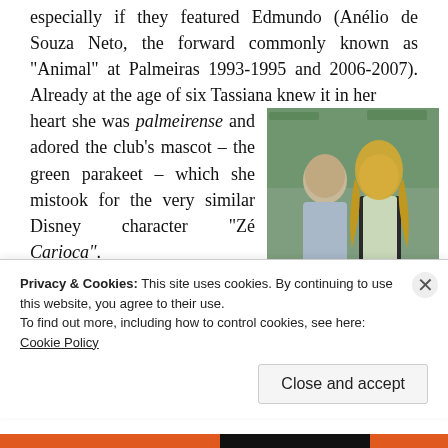especially if they featured Edmundo (Anélio de Souza Neto, the forward commonly known as "Animal" at Palmeiras 1993-1995 and 2006-2007). Already at the age of six Tassiana knew it in her heart she was palmeirense and adored the club's mascot – the green parakeet – which she mistook for the very similar Disney character "Zé Carioca". "I could swear that little thing was alive", she explains with a laughter. When asked
[Figure (photo): Two people posing at an event: a bald man in a light grey shirt and a blonde woman in a patterned top with a dark blazer. Green branded banners visible in background.]
Privacy & Cookies: This site uses cookies. By continuing to use this website, you agree to their use. To find out more, including how to control cookies, see here: Cookie Policy